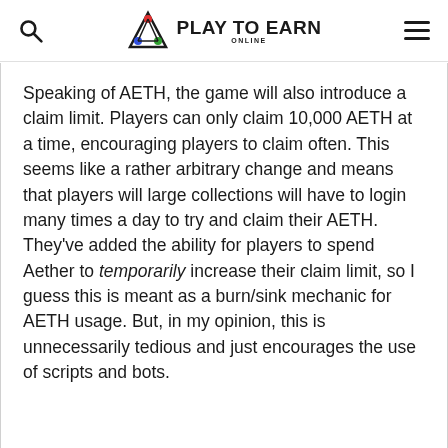PLAY TO EARN ONLINE
Speaking of AETH, the game will also introduce a claim limit. Players can only claim 10,000 AETH at a time, encouraging players to claim often. This seems like a rather arbitrary change and means that players will large collections will have to login many times a day to try and claim their AETH. They've added the ability for players to spend Aether to temporarily increase their claim limit, so I guess this is meant as a burn/sink mechanic for AETH usage. But, in my opinion, this is unnecessarily tedious and just encourages the use of scripts and bots.